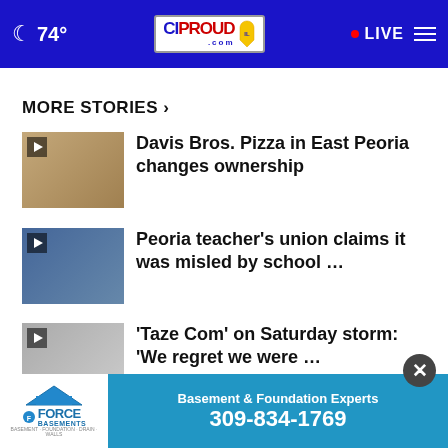74° CIProud.com LIVE
MORE STORIES ›
Davis Bros. Pizza in East Peoria changes ownership
Peoria teacher's union claims it was misled by school …
'Taze Com' on Saturday storm: 'We regret we were …
CI Hero: Dunlap youth librarian creates an immersive …
multi-billion dollar …
[Figure (screenshot): Ad banner: Force Basements logo with text 'Basement & Foundation Experts 309-834-1769']